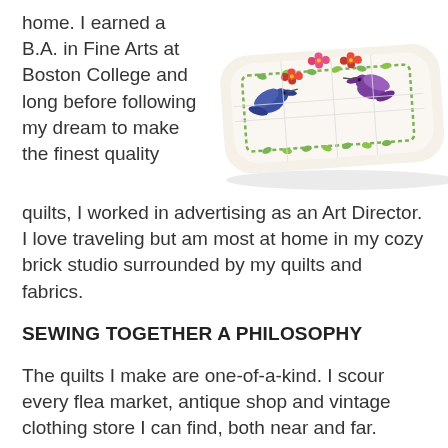home. I earned a B.A. in Fine Arts at Boston College and long before following my dream to make the finest quality quilts, I worked in advertising as an Art Director. I love traveling but am most at home in my cozy brick studio surrounded by my quilts and fabrics.
[Figure (photo): A decorative embroidered pillow with colorful birds (blue and purple hummingbirds or swallows) and red flowers on a white background with quilted stitching.]
SEWING TOGETHER A PHILOSOPHY
The quilts I make are one-of-a-kind. I scour every flea market, antique shop and vintage clothing store I can find, both near and far. Everywhere I go, I'm always on the prowl for interesting fabrics, vintage handkerchiefs, tablecloths, pillowcases, lace and bedcovers — really